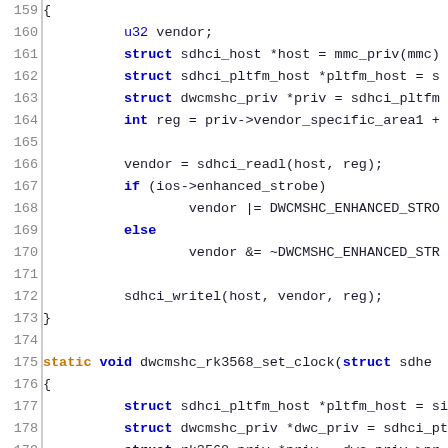[Figure (screenshot): Source code snippet in C, lines 159-180, showing a function body with sdhci/dwcmshc driver code, including vendor register read/write logic and dwcmshc_rk3568_set_clock function declaration.]